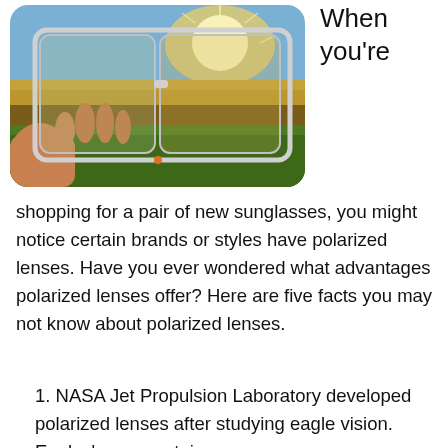[Figure (photo): A hand holding a pair of clear-framed glasses up against a coastal landscape with green grass, water, and a bright sky. The lens shows a reflected or filtered view of the scene.]
When you're
shopping for a pair of new sunglasses, you might notice certain brands or styles have polarized lenses. Have you ever wondered what advantages polarized lenses offer? Here are five facts you may not know about polarized lenses.
1. NASA Jet Propulsion Laboratory developed polarized lenses after studying eagle vision. Eagles' eyes contain a